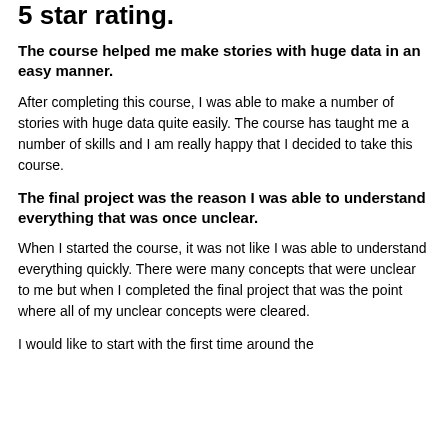5 star rating.
The course helped me make stories with huge data in an easy manner.
After completing this course, I was able to make a number of stories with huge data quite easily. The course has taught me a number of skills and I am really happy that I decided to take this course.
The final project was the reason I was able to understand everything that was once unclear.
When I started the course, it was not like I was able to understand everything quickly. There were many concepts that were unclear to me but when I completed the final project that was the point where all of my unclear concepts were cleared.
I would like to...